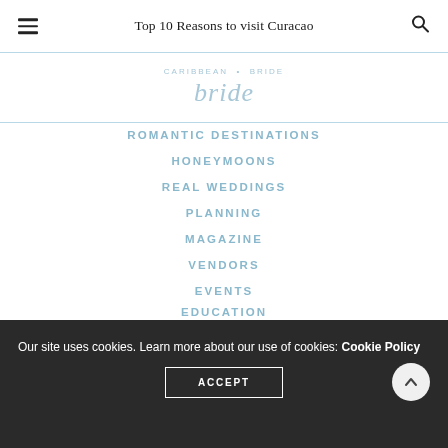Top 10 Reasons to visit Curacao
[Figure (logo): Caribbean Bride logo with script 'bride' text in light blue]
ROMANTIC DESTINATIONS
HONEYMOONS
REAL WEDDINGS
PLANNING
MAGAZINE
VENDORS
EVENTS
EDUCATION
Our site uses cookies. Learn more about our use of cookies: Cookie Policy
ACCEPT